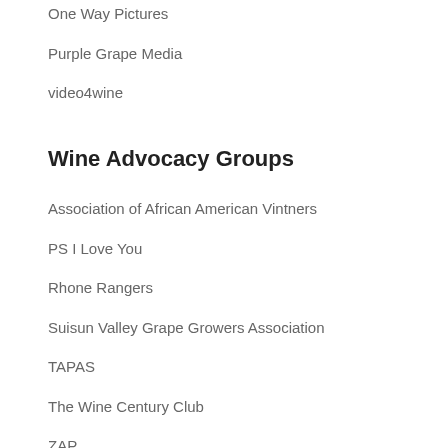One Way Pictures
Purple Grape Media
video4wine
Wine Advocacy Groups
Association of African American Vintners
PS I Love You
Rhone Rangers
Suisun Valley Grape Growers Association
TAPAS
The Wine Century Club
ZAP
Wine Apps
NoteStream